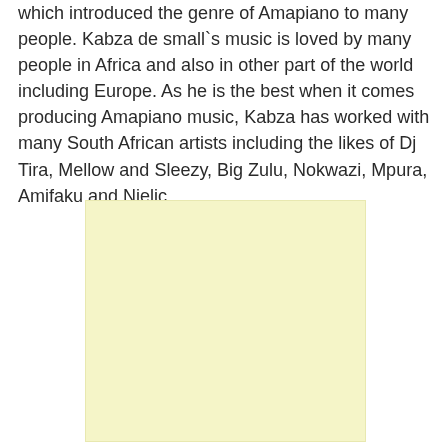which introduced the genre of Amapiano to many people. Kabza de small`s music is loved by many people in Africa and also in other part of the world including Europe. As he is the best when it comes producing Amapiano music, Kabza has worked with many South African artists including the likes of Dj Tira, Mellow and Sleezy, Big Zulu, Nokwazi, Mpura, Amifaku and Njelic.
[Figure (other): A light yellow/cream colored rectangular advertisement block]